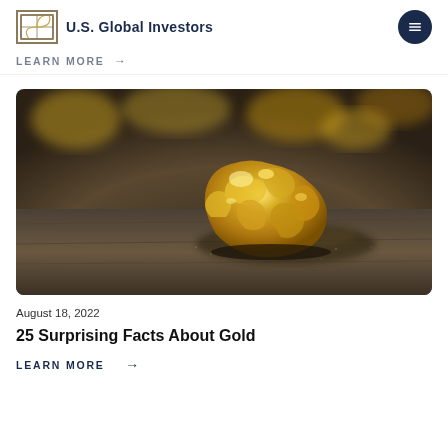U.S. Global Investors
LEARN MORE →
[Figure (photo): Close-up photograph of a rough gold nugget resting on dark sandy/rocky ground, with blurred gold nuggets visible in the background. The nugget is large, irregular, and highly reflective with a golden yellow color.]
August 18, 2022
25 Surprising Facts About Gold
LEARN MORE →